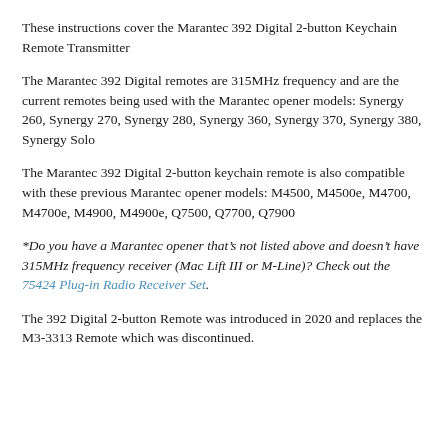These instructions cover the Marantec 392 Digital 2-button Keychain Remote Transmitter
The Marantec 392 Digital remotes are 315MHz frequency and are the current remotes being used with the Marantec opener models: Synergy 260, Synergy 270, Synergy 280, Synergy 360, Synergy 370, Synergy 380, Synergy Solo
The Marantec 392 Digital 2-button keychain remote is also compatible with these previous Marantec opener models: M4500, M4500e, M4700, M4700e, M4900, M4900e, Q7500, Q7700, Q7900
*Do you have a Marantec opener that’s not listed above and doesn’t have 315MHz frequency receiver (Mac Lift III or M-Line)? Check out the 75424 Plug-in Radio Receiver Set.
The 392 Digital 2-button Remote was introduced in 2020 and replaces the M3-3313 Remote which was discontinued.